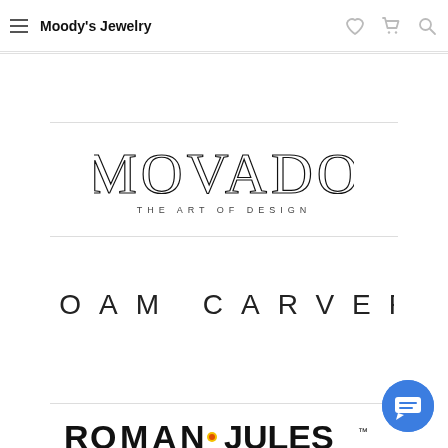Moody's Jewelry
[Figure (logo): Movado logo: large thin-stroke letters MOVADO with tagline THE ART OF DESIGN below]
[Figure (logo): Noam Carver logo: spaced thin uppercase letters NOAM CARVER]
[Figure (logo): Roman Jules logo partially visible at bottom]
[Figure (other): Blue circular chat button with message icon in lower right corner]